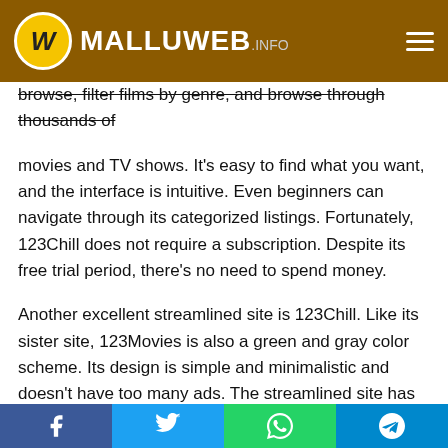MALLUWEB.INFO
123Chill is a user-friendly site. It's easy to browse, filter films by genre, and browse through thousands of movies and TV shows. It's easy to find what you want, and the interface is intuitive. Even beginners can navigate through its categorized listings. Fortunately, 123Chill does not require a subscription. Despite its free trial period, there's no need to spend money.
Another excellent streamlined site is 123Chill. Like its sister site, 123Movies is also a green and gray color scheme. Its design is simple and minimalistic and doesn't have too many ads. The streamlined site has thousands of movies and TV shows. It also puts a prominent search bar in the corner of the page, which is convenient for users. It's accessible all the time, so you can watch whatever you want.
Facebook | Twitter | WhatsApp | Telegram